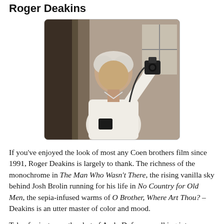Roger Deakins
[Figure (photo): Roger Deakins, a white-haired man in a white shirt, holding a camera up in what appears to be an indoor location with dark framing/doorway behind him.]
If you've enjoyed the look of most any Coen brothers film since 1991, Roger Deakins is largely to thank. The richness of the monochrome in The Man Who Wasn't There, the rising vanilla sky behind Josh Brolin running for his life in No Country for Old Men, the sepia-infused warms of O Brother, Where Art Thou? – Deakins is an utter master of color and mood.
Take, for instance, the shot of Andy Dufresne walking into Shawshank State Penitentiary for the first time. He looks up as the camera tracks his point of view, catching the dark, imposing tower entrance of the prison. There's nothing good